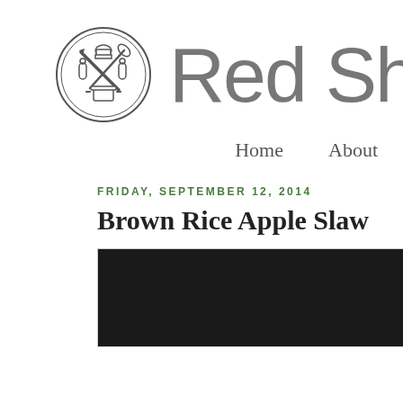[Figure (logo): Circular logo with kitchen tools (knife, whisk, chef hat, pepper grinders, pot) crossed in the center]
Red Sh
Home   About
FRIDAY, SEPTEMBER 12, 2014
Brown Rice Apple Slaw
[Figure (photo): Dark/black image, partially visible food photo]